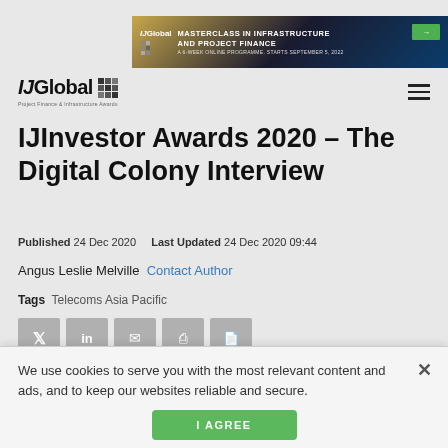[Figure (infographic): IJGlobal banner ad: Masterclass in Infrastructure and Project Finance, a 6-week online programme, starts September 5, 2022]
[Figure (logo): IJGlobal logo with grid icon and tagline 'Project Finance & Infrastructure Awards']
[Figure (infographic): Hamburger menu icon (three horizontal lines)]
IJInvestor Awards 2020 – The Digital Colony Interview
Published 24 Dec 2020    Last Updated 24 Dec 2020 09:44
Angus Leslie Melville Contact Author
Tags Telecoms Asia Pacific
[Figure (infographic): Social sharing buttons: Twitter, LinkedIn, Email, Print, PDF]
We use cookies to serve you with the most relevant content and ads, and to keep our websites reliable and secure.
I AGREE